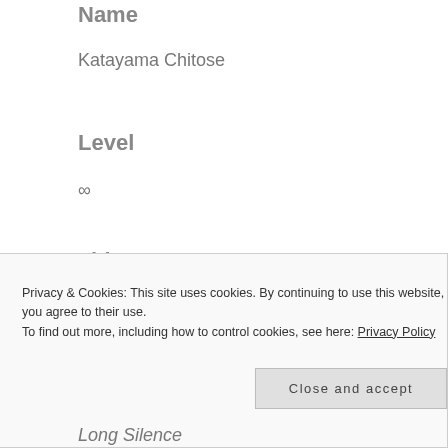Name
Katayama Chitose
Level
∞
Titles
The Convictor■The Fanatic
Personality
Privacy & Cookies: This site uses cookies. By continuing to use this website, you agree to their use.
To find out more, including how to control cookies, see here: Privacy Policy
Close and accept
Long Silence